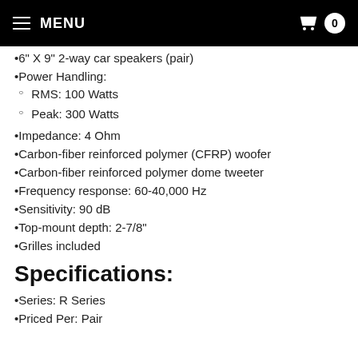MENU  0
6" X 9" 2-way car speakers (pair)
Power Handling:
RMS: 100 Watts
Peak: 300 Watts
Impedance: 4 Ohm
Carbon-fiber reinforced polymer (CFRP) woofer
Carbon-fiber reinforced polymer dome tweeter
Frequency response: 60-40,000 Hz
Sensitivity: 90 dB
Top-mount depth: 2-7/8"
Grilles included
Specifications:
Series: R Series
Priced Per: Pair